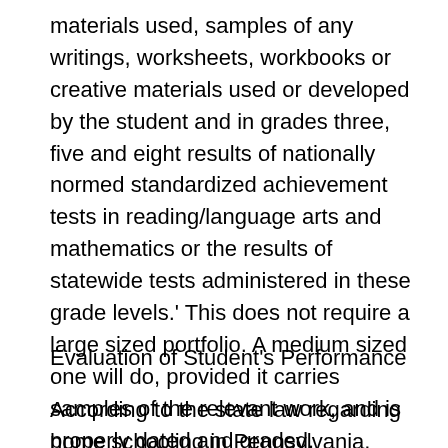materials used, samples of any writings, worksheets, workbooks or creative materials used or developed by the student and in grades three, five and eight results of nationally normed standardized achievement tests in reading/language arts and mathematics or the results of statewide tests administered in these grade levels.' This does not require a large sized portfolio. A medium sized one will do, provided it carries samples of the relevant work, and is properly dated and graded.
Evaluation of Student's Performance
According to the state law regarding home schooling in Pennsylvania, evaluation of an